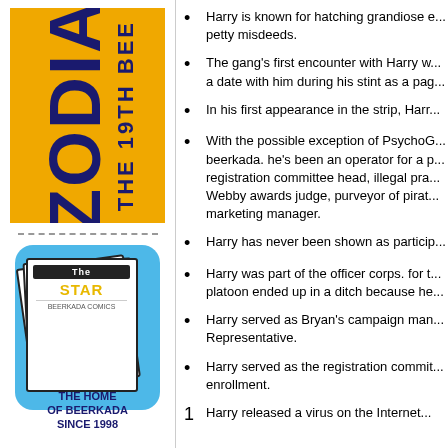[Figure (logo): Zodiac The 19th Beerkada yellow banner with dark blue vertical text]
[Figure (logo): The Star newspaper logo badge - The Home of Beerkada Since 1998 on blue rounded rectangle with newspaper illustration]
Harry is known for hatching grandiose e... petty misdeeds.
The gang's first encounter with Harry w... a date with him during his stint as a pag...
In his first appearance in the strip, Harr...
With the possible exception of PsychoG... beerkada. he's been an operator for a p... registration committee head, illegal pra... Webby awards judge, purveyor of pirat... marketing manager.
Harry has never been shown as particip...
Harry was part of the officer corps. for t... platoon ended up in a ditch because he...
Harry served as Bryan's campaign man... Representative.
Harry served as the registration commit... enrollment.
Harry released a virus on the Internet...